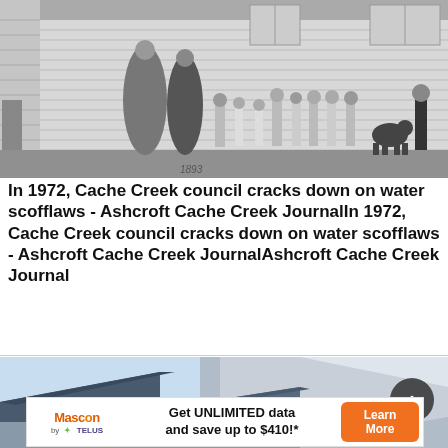[Figure (photo): Black and white historical photo of a group of people (adults and children) standing in front of a white clapboard building. Two women in long Victorian-era dresses stand on the left, with a line of children extending to the right. A dog is visible near the right side.]
In 1972, Cache Creek council cracks down on water scofflaws - Ashcroft Cache Creek JournalIn 1972, Cache Creek council cracks down on water scofflaws - Ashcroft Cache Creek JournalAshcroft Cache Creek Journal
[Figure (photo): Color photo of a modern building roofline with dark blue/grey metal roof against a snowy hillside in the background under a light blue sky.]